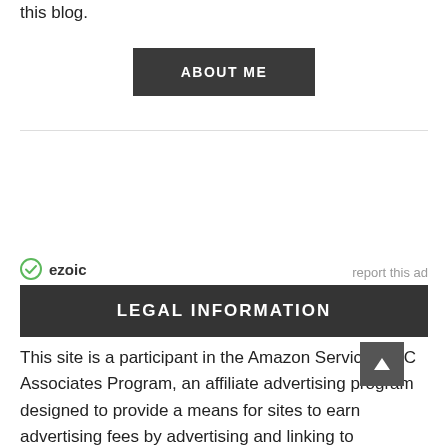this blog.
ABOUT ME
[Figure (logo): Ezoic logo with green checkmark icon and text 'ezoic', with 'report this ad' link to the right]
LEGAL INFORMATION
This site is a participant in the Amazon Services LLC Associates Program, an affiliate advertising program designed to provide a means for sites to earn advertising fees by advertising and linking to Amazon.com. We are compensated for referri... affic